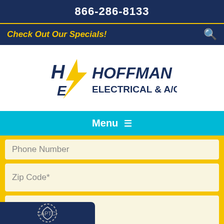866-286-8133
Check Out Our Specials!
[Figure (logo): Hoffman Electrical & A/C company logo with lightning bolt]
Menu
Phone Number
Zip Code*
How can we help?